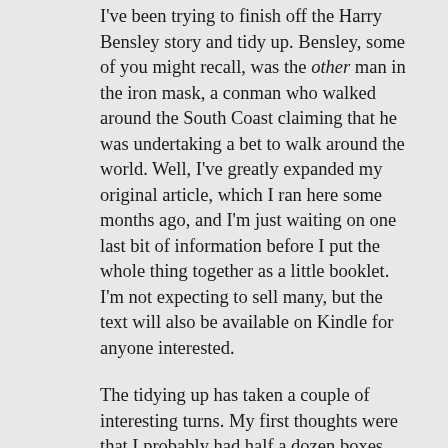I've been trying to finish off the Harry Bensley story and tidy up. Bensley, some of you might recall, was the other man in the iron mask, a conman who walked around the South Coast claiming that he was undertaking a bet to walk around the world. Well, I've greatly expanded my original article, which I ran here some months ago, and I'm just waiting on one last bit of information before I put the whole thing together as a little booklet. I'm not expecting to sell many, but the text will also be available on Kindle for anyone interested.
The tidying up has taken a couple of interesting turns. My first thoughts were that I probably had half a dozen boxes which were full of old paperwork. So far I've found sixteen and the far end of the lounge looks like a bomb has